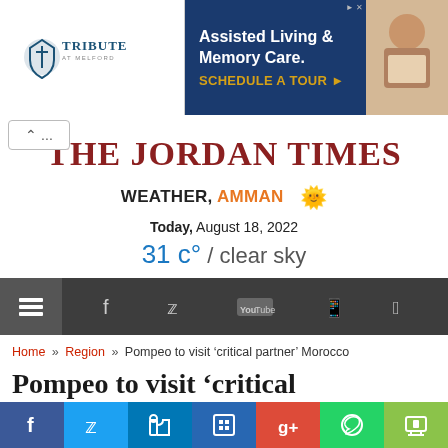[Figure (screenshot): Advertisement banner for Tribute at Melford assisted living and memory care with 'Schedule a Tour' CTA]
THE JORDAN TIMES
WEATHER, AMMAN ☀ Today, August 18, 2022 31 c° / clear sky
[Figure (screenshot): Navigation bar with hamburger menu, Facebook, Twitter, YouTube, Android, Apple icons on dark background]
Home » Region » Pompeo to visit 'critical partner' Morocco
Pompeo to visit 'critical
[Figure (screenshot): Social share bar with Facebook, Twitter, LinkedIn, Myspace, Google+, WhatsApp, Print buttons]